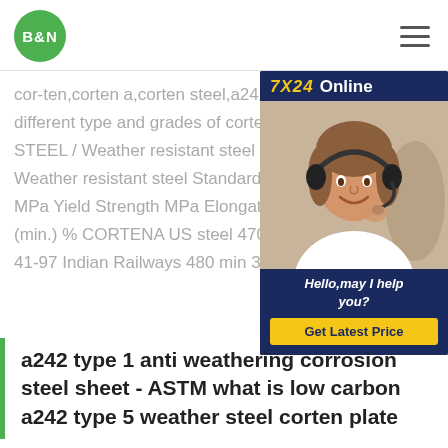[Figure (logo): B&N logo in a green circle]
cor-ten,corten a,corten steel,a242,a558 different type and grades of corten steel STEEL / Weather resistant steel Physical Weather resistant steel Standard Tensile MPa Yield Strength MPa Elongation in (min.) % CORTENA US steel 470-630 41-97 Indian Railways 480 min 340 min
[Figure (photo): 7X24 Online chat widget with a woman wearing a headset, text 'Hello, may I help you?' and a 'Get Latest Price' button]
a242 type 1 anti weathering corrosion steel sheet - ASTM what is low carbon a242 type 5 weather steel corten plate